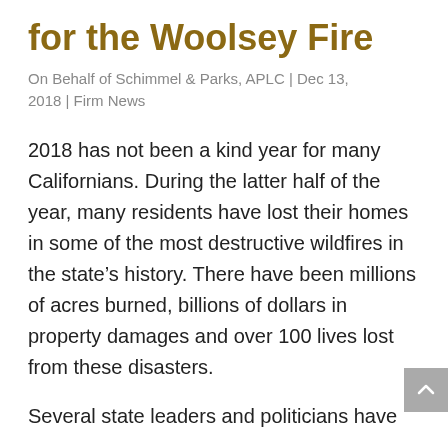for the Woolsey Fire
On Behalf of Schimmel & Parks, APLC | Dec 13, 2018 | Firm News
2018 has not been a kind year for many Californians. During the latter half of the year, many residents have lost their homes in some of the most destructive wildfires in the state’s history. There have been millions of acres burned, billions of dollars in property damages and over 100 lives lost from these disasters.
Several state leaders and politicians have